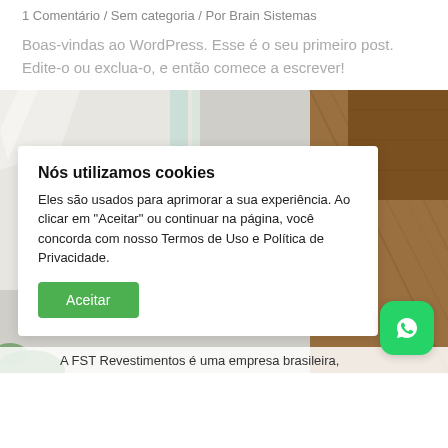1 Comentário / Sem categoria / Por Brain Sistemas
Boas-vindas ao WordPress. Esse é o seu primeiro post. Edite-o ou exclua-o, e então comece a escrever!
[Figure (photo): Interior photo showing glass panels and wooden wall cladding in a modern space]
Nós utilizamos cookies
Eles são usados para aprimorar a sua experiência. Ao clicar em "Aceitar" ou continuar na página, você concorda com nosso Termos de Uso e Política de Privacidade.
Aceitar
A FST Revestimentos é uma empresa brasileira,